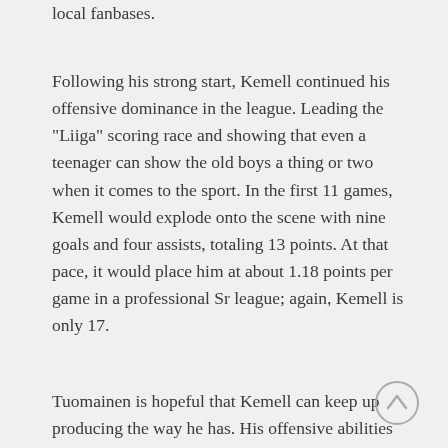local fanbases.
Following his strong start, Kemell continued his offensive dominance in the league. Leading the “Liiga” scoring race and showing that even a teenager can show the old boys a thing or two when it comes to the sport. In the first 11 games, Kemell would explode onto the scene with nine goals and four assists, totaling 13 points. At that pace, it would place him at about 1.18 points per game in a professional Sr league; again, Kemell is only 17.
Tuomainen is hopeful that Kemell can keep up producing the way he has. His offensive abilities